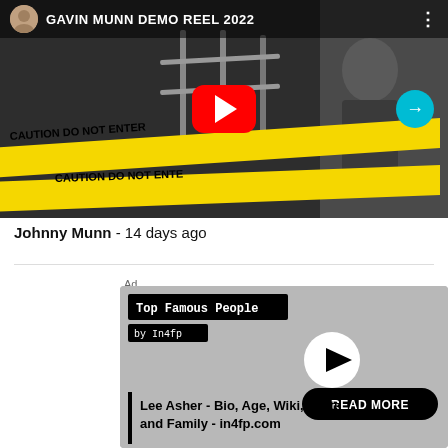[Figure (screenshot): YouTube video thumbnail showing GAVIN MUNN DEMO REEL 2022 with a young person in a black jacket near caution tape, with red YouTube play button in center and navigation arrow on right]
Johnny Munn - 14 days ago
[Figure (screenshot): Advertisement widget with gray background showing Top Famous People by In4fp with play button and READ MORE button, and text 'Lee Asher - Bio, Age, Wiki, Facts and Family - in4fp.com']